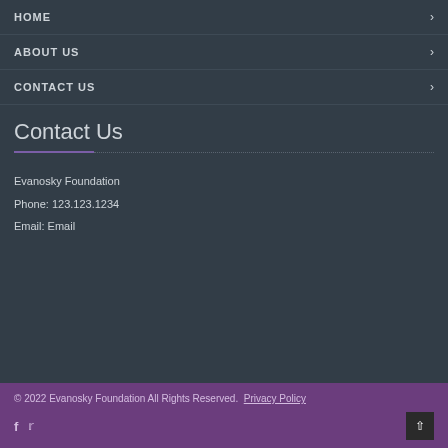HOME
ABOUT US
CONTACT US
Contact Us
Evanosky Foundation
Phone: 123.123.1234
Email: Email
© 2022 Evanosky Foundation All Rights Reserved.  Privacy Policy